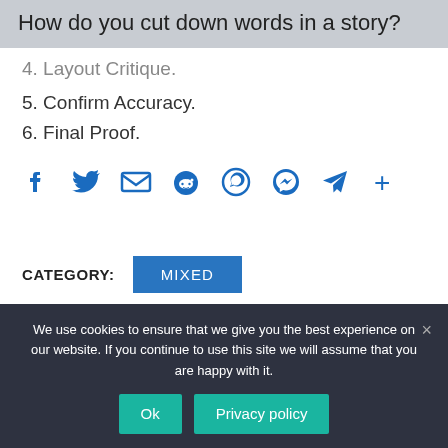How do you cut down words in a story?
4. Layout Critique.
5. Confirm Accuracy.
6. Final Proof.
[Figure (infographic): Social share icons: Facebook, Twitter, Email, Reddit, WhatsApp, Messenger, Telegram, More (+)]
CATEGORY: MIXED
We use cookies to ensure that we give you the best experience on our website. If you continue to use this site we will assume that you are happy with it.